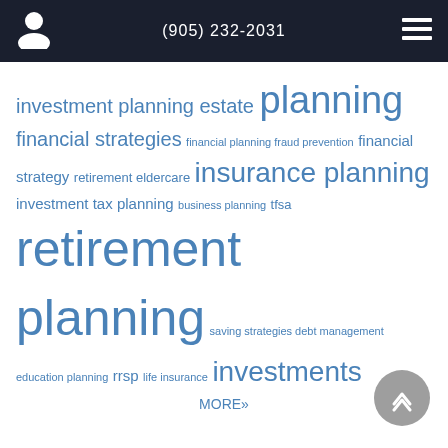(905) 232-2031
investment planning estate planning financial strategies financial planning fraud prevention financial strategy retirement eldercare insurance planning investment tax planning business planning tfsa retirement planning saving strategies debt management education planning rrsp life insurance investments MORE»